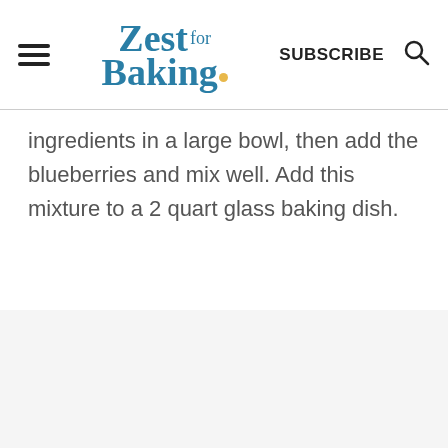Zest for Baking — SUBSCRIBE
ingredients in a large bowl, then add the blueberries and mix well. Add this mixture to a 2 quart glass baking dish.